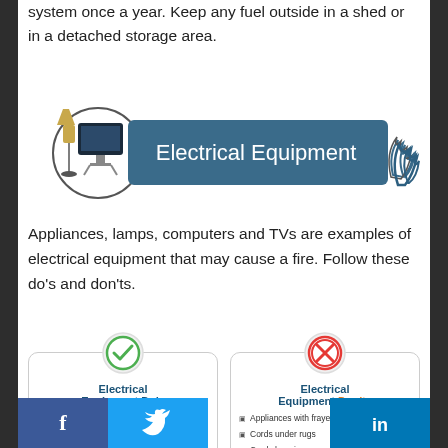system once a year. Keep any fuel outside in a shed or in a detached storage area.
[Figure (infographic): Electrical Equipment banner with flame graphic and monitor/lamp icon]
Appliances, lamps, computers and TVs are examples of electrical equipment that may cause a fire. Follow these do's and don'ts.
[Figure (infographic): Two cards side by side: Electrical Equipment Do's (green checkmark) and Electrical Equipment Don'ts (red X), each with bullet points]
Facebook, Twitter, LinkedIn social media icons